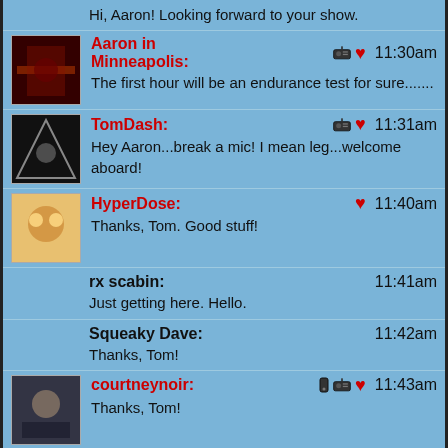Hi, Aaron! Looking forward to your show.
Aaron in Minneapolis: The first hour will be an endurance test for sure.......  11:30am
TomDash: Hey Aaron...break a mic! I mean leg...welcome aboard!  11:31am
HyperDose: Thanks, Tom. Good stuff!  11:40am
rx scabin: Just getting here. Hello.  11:41am
Squeaky Dave: Thanks, Tom!  11:42am
courtneynoir: Thanks, Tom!  11:43am
Megaroni: Just got my t-shirt from donating to your show, thanks Tom. Enjoy visit with your Mama  11:46am